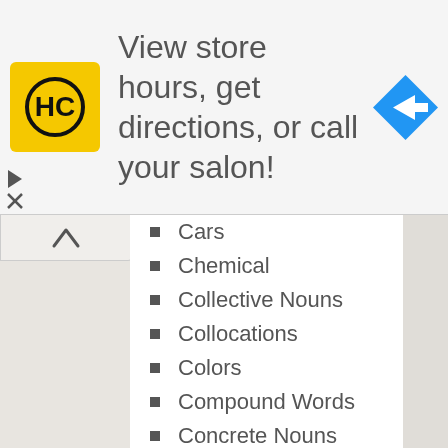[Figure (screenshot): Advertisement banner: HC salon logo, text 'View store hours, get directions, or call your salon!' with navigation arrow icon]
Cars
Chemical
Collective Nouns
Collocations
Colors
Compound Words
Concrete Nouns
Conditionals
Conjunctions
Declarative Sentences
Environment
Family
Feeling Words
Figure of Speech